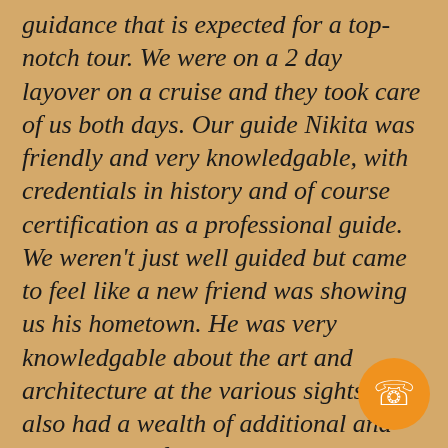guidance that is expected for a top-notch tour. We were on a 2 day layover on a cruise and they took care of us both days. Our guide Nikita was friendly and very knowledgable, with credentials in history and of course certification as a professional guide. We weren't just well guided but came to feel like a new friend was showing us his hometown. He was very knowledgable about the art and architecture at the various sights but also had a wealth of additional and interesting information in response to our questions.We had minimal waiting time at the various attractions and were able to customize our day ahead of time and as we went along. A car
[Figure (illustration): Orange circular phone/call button icon with white telephone handset symbol]